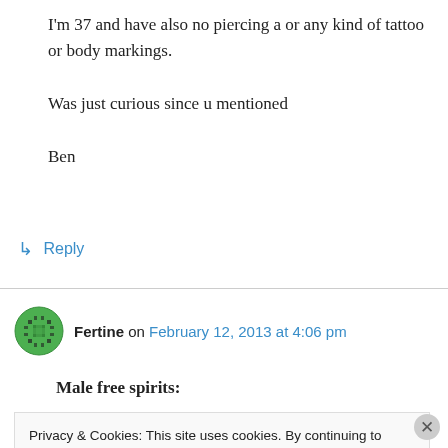I'm 37 and have also no piercing a or any kind of tattoo or body markings.

Was just curious since u mentioned

Ben
↳ Reply
Fertine on February 12, 2013 at 4:06 pm
Male free spirits:
Privacy & Cookies: This site uses cookies. By continuing to use this website, you agree to their use.
To find out more, including how to control cookies, see here: Cookie Policy
Close and accept